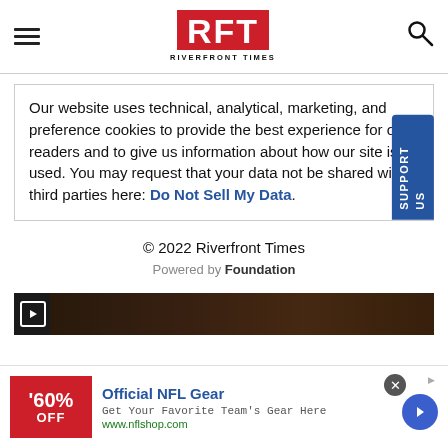[Figure (logo): RFT Riverfront Times logo - red background with white bold letters RFT, black text RIVERFRONT TIMES below]
Our website uses technical, analytical, marketing, and preference cookies to provide the best experience for our readers and to give us information about how our site is used. You may request that your data not be shared with third parties here: Do Not Sell My Data.
© 2022 Riverfront Times
Powered by Foundation
[Figure (screenshot): Dark advertisement image bar with play button icon]
[Figure (infographic): Advertisement banner: 60% OFF Official NFL Gear - Get Your Favorite Team's Gear Here - www.nflshop.com]